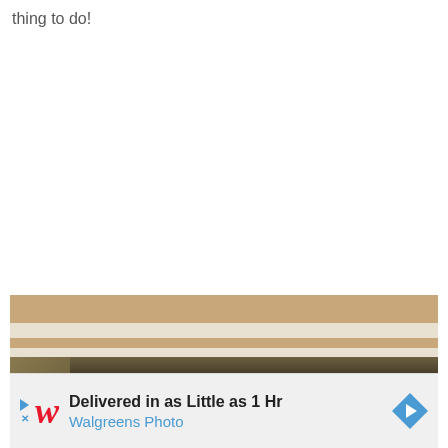thing to do!
[Figure (photo): Close-up photo of a wooden shelf or cabinet edge, showing beige/white frame with brown fabric or wood surface, and dark interior]
[Figure (other): Advertisement banner: Walgreens Photo — Delivered in as Little as 1 Hr, with Walgreens red W logo, play/close button, and blue diamond arrow icon]